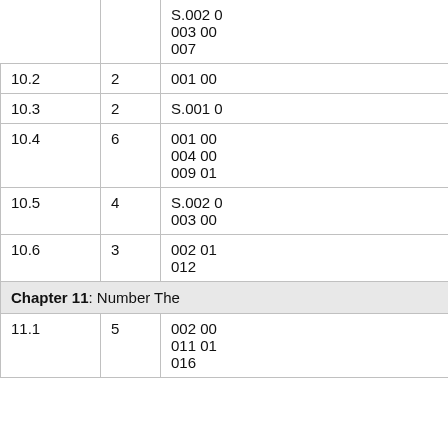|  |  |  |
| --- | --- | --- |
|  |  | S.002 0
003 00
007 |
| 10.2 | 2 | 001 00 |
| 10.3 | 2 | S.001 0 |
| 10.4 | 6 | 001 00
004 00
009 01 |
| 10.5 | 4 | S.002 0
003 00 |
| 10.6 | 3 | 002 01
012 |
| Chapter 11: Number The |  |  |
| 11.1 | 5 | 002 00
011 01
016 |